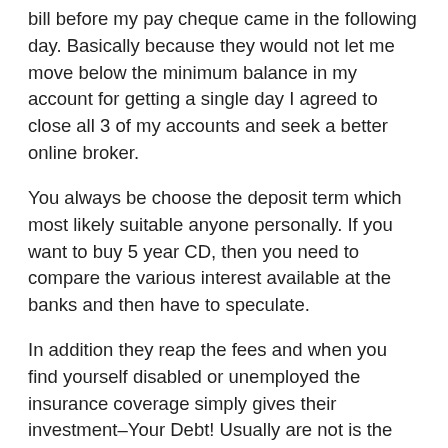bill before my pay cheque came in the following day. Basically because they would not let me move below the minimum balance in my account for getting a single day I agreed to close all 3 of my accounts and seek a better online broker.
You always be choose the deposit term which most likely suitable anyone personally. If you want to buy 5 year CD, then you need to compare the various interest available at the banks and then have to speculate.
In addition they reap the fees and when you find yourself disabled or unemployed the insurance coverage simply gives their investment–Your Debt! Usually are not is the true winner with this? The insurance company ad the creditors. The other bad this specific offer is simply because they add it onto your card bill usually monthly or every 3 months. That can add up because you are already paying interest on your debt, congratulations, you will be adding interest to your own card insurance premiums. Doesn't sound like such great deal